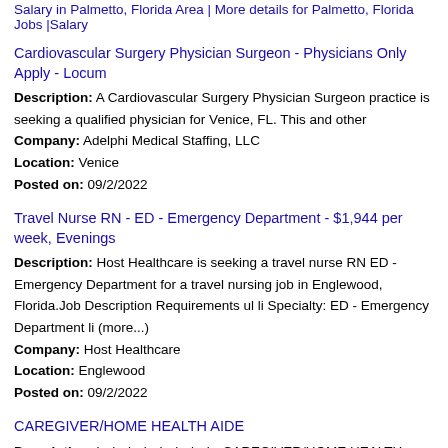Salary in Palmetto, Florida Area | More details for Palmetto, Florida Jobs |Salary
Cardiovascular Surgery Physician Surgeon - Physicians Only Apply - Locum
Description: A Cardiovascular Surgery Physician Surgeon practice is seeking a qualified physician for Venice, FL. This and other Company: Adelphi Medical Staffing, LLC Location: Venice Posted on: 09/2/2022
Travel Nurse RN - ED - Emergency Department - $1,944 per week, Evenings
Description: Host Healthcare is seeking a travel nurse RN ED - Emergency Department for a travel nursing job in Englewood, Florida.Job Description Requirements ul li Specialty: ED - Emergency Department li (more...) Company: Host Healthcare Location: Englewood Posted on: 09/2/2022
CAREGIVER/HOME HEALTH AIDE
Description: br br br br br br br br CAREGIVER/HOME HEALTH AIDE br br br br Job Locations br br US-FL-BRADENTON - US-FL-